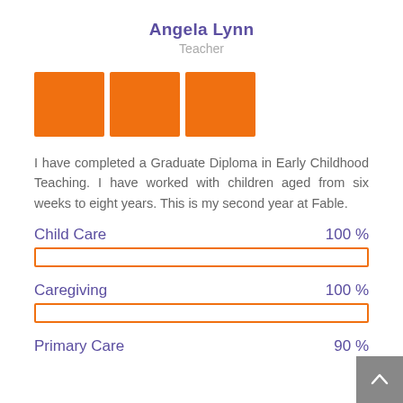Angela Lynn
Teacher
[Figure (logo): Three orange squares arranged in a row, representing a logo or brand mark]
I have completed a Graduate Diploma in Early Childhood Teaching. I have worked with children aged from six weeks to eight years. This is my second year at Fable.
Child Care  100 %
[Figure (other): Orange outlined progress bar for Child Care, 100%]
Caregiving  100 %
[Figure (other): Orange outlined progress bar for Caregiving, 100%]
Primary Care  90 %